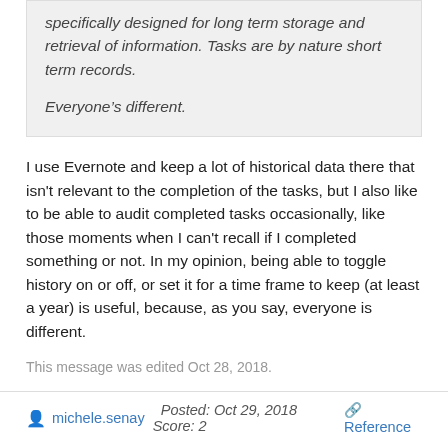specifically designed for long term storage and retrieval of information. Tasks are by nature short term records.
Everyone’s different.
I use Evernote and keep a lot of historical data there that isn't relevant to the completion of the tasks, but I also like to be able to audit completed tasks occasionally, like those moments when I can't recall if I completed something or not. In my opinion, being able to toggle history on or off, or set it for a time frame to keep (at least a year) is useful, because, as you say, everyone is different.
This message was edited Oct 28, 2018.
michele.senay   Posted: Oct 29, 2018   Score: 2   Reference
Posted by dmos01: